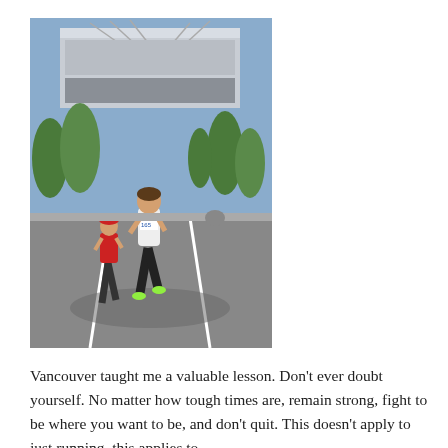[Figure (photo): Runners on a road during a marathon race. A man in a white singlet and black shorts runs in the foreground, another runner in a red and black outfit follows behind. A large stadium building is visible in the background, along with trees and a clear sky.]
Vancouver taught me a valuable lesson. Don't ever doubt yourself. No matter how tough times are, remain strong, fight to be where you want to be, and don't quit. This doesn't apply to just running, this applies to